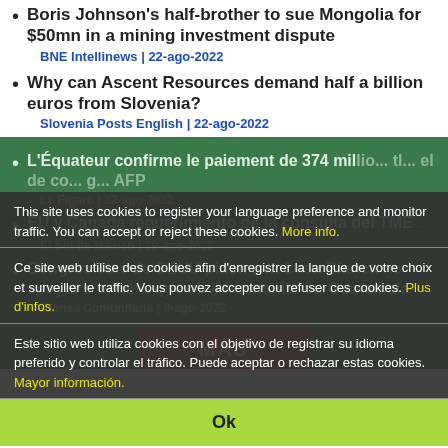Boris Johnson's half-brother to sue Mongolia for $50mn in a mining investment dispute
BNE Intellinews | 22-ago-2022
Why can Ascent Resources demand half a billion euros from Slovenia?
Slovenia Posts English | 22-ago-2022
L'Équateur confirme le paiement de 374 mil... el de co... AFP
Le Figaro | 22-ago-2022
EU y Canada requerimiento de la consulta del TME...
El Sol de México | 19-ago-2022
Congresistas de EEUU piden a la Casa Blanca no apoyar a minera que obvió consulta en Guatemala
Prensa Comunitaria | 8-ago-2022
This site uses cookies to register your language preference and monitor traffic. You can accept or reject these cookies. More info.
Ce site web utilise des cookies afin d'enregistrer la langue de votre choix et surveiller le traffic. Vous pouvez accepter ou refuser ces cookies. Plus d'infos.
Este sitio web utiliza cookies con el objetivo de registrar su idioma preferido y controlar el tráfico. Puede aceptar o rechazar estas cookies. Mayor información.
Ok
MÁS